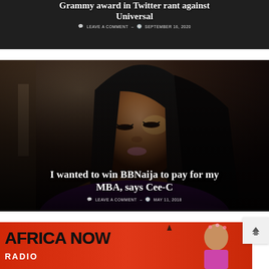Grammy award in Twitter rant against Universal
LEAVE A COMMENT  –  SEPTEMBER 16, 2020
[Figure (photo): Dark-toned background image related to a Grammy award article]
I wanted to win BBNaija to pay for my MBA, says Cee-C
LEAVE A COMMENT  –  MAY 11, 2018
[Figure (photo): Portrait photo of a young Black woman with straight black hair, eyes closed, wearing a purple/magenta outfit]
[Figure (photo): Africa Now promotional banner with orange/red background showing text AFRICA NOW and a person]